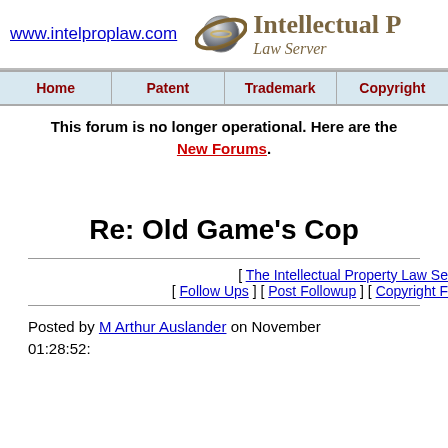www.intelproplaw.com | Intellectual Property Law Server
| Home | Patent | Trademark | Copyright |
| --- | --- | --- | --- |
This forum is no longer operational. Here are the New Forums.
Re: Old Game's Cop
[ The Intellectual Property Law Se
[ Follow Ups ] [ Post Followup ] [ Copyright F
Posted by M Arthur Auslander on November
01:28:52: